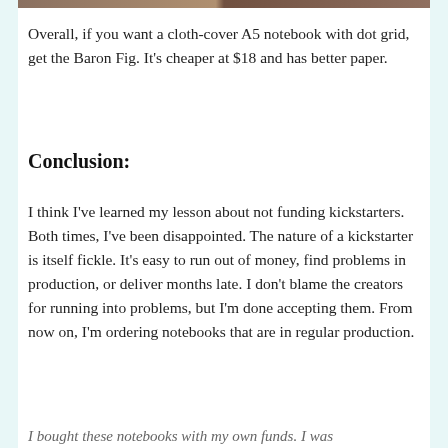[Figure (photo): Partial view of notebook images at the top of the page, cropped strip showing two notebooks side by side]
Overall, if you want a cloth-cover A5 notebook with dot grid, get the Baron Fig. It's cheaper at $18 and has better paper.
Conclusion:
I think I've learned my lesson about not funding kickstarters. Both times, I've been disappointed. The nature of a kickstarter is itself fickle. It's easy to run out of money, find problems in production, or deliver months late. I don't blame the creators for running into problems, but I'm done accepting them. From now on, I'm ordering notebooks that are in regular production.
I bought these notebooks with my own funds. I was